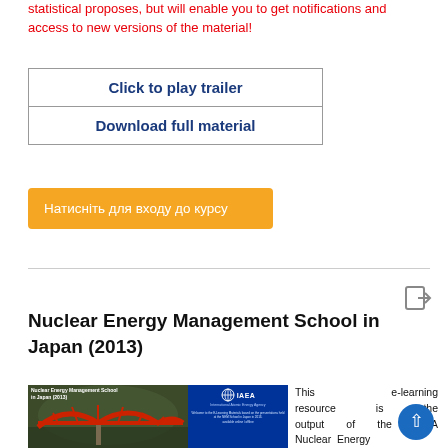statistical proposes, but will enable you to get notifications and access to new versions of the material!
Click to play trailer
Download full material
Натисніть для входу до курсу
Nuclear Energy Management School in Japan (2013)
[Figure (screenshot): Thumbnail image of Nuclear Energy Management School in Japan 2013 course, showing a red bridge in a Japanese garden on the left and the IAEA logo with course title on the right]
This e-learning resource is the output of the IAEA Nuclear Energy